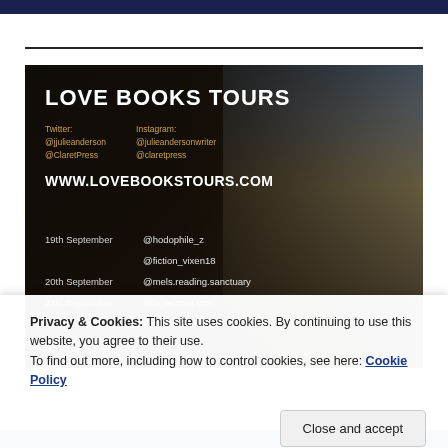[Figure (photo): Love Books Tours promotional banner image with dark atmospheric street scene background. Contains title 'LOVE BOOKS TOURS', social media handles for Twitter (@jjulieanderson, @ClaretPress) and Instagram (@julieandersonwriter, @claretpress), website WWW.LOVEBOOKSTOURS.COM, and tour schedule listing: 19th September @hodophile_z, @fiction_vixen18; 20th September @mels.reading.sanctuary; 21st September @la_lectora.ctm; 22nd September @CallahanDerek (partially visible)]
Privacy & Cookies: This site uses cookies. By continuing to use this website, you agree to their use.
To find out more, including how to control cookies, see here: Cookie Policy
Close and accept